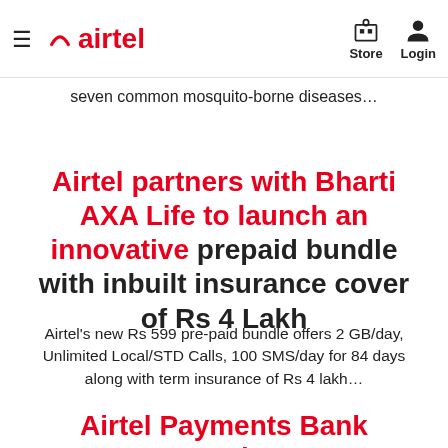airtel | Store | Login
seven common mosquito-borne diseases…
Airtel partners with Bharti AXA Life to launch an innovative prepaid bundle with inbuilt insurance cover of Rs 4 Lakh
Airtel's new Rs 599 pre-paid bundle offers 2 GB/day, Unlimited Local/STD Calls, 100 SMS/day for 84 days along with term insurance of Rs 4 lakh…
Airtel Payments Bank Launches